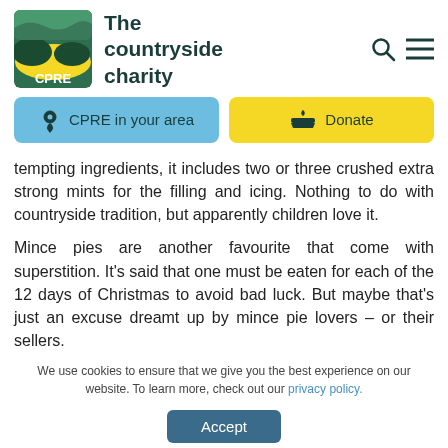[Figure (logo): CPRE – The countryside charity logo with green and yellow landscape icon]
The countryside charity
[Figure (other): Search and hamburger menu icons in header]
[Figure (other): Navigation buttons: 'CPRE in your area' (blue) and 'Donate' (yellow)]
tempting ingredients, it includes two or three crushed extra strong mints for the filling and icing. Nothing to do with countryside tradition, but apparently children love it.
Mince pies are another favourite that come with superstition. It's said that one must be eaten for each of the 12 days of Christmas to avoid bad luck. But maybe that's just an excuse dreamt up by mince pie lovers – or their sellers.
We use cookies to ensure that we give you the best experience on our website. To learn more, check out our privacy policy.
Accept